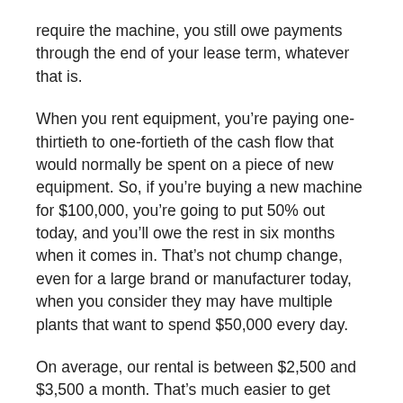require the machine, you still owe payments through the end of your lease term, whatever that is.
When you rent equipment, you’re paying one-thirtieth to one-fortieth of the cash flow that would normally be spent on a piece of new equipment. So, if you’re buying a new machine for $100,000, you’re going to put 50% out today, and you’ll owe the rest in six months when it comes in. That’s not chump change, even for a large brand or manufacturer today, when you consider they may have multiple plants that want to spend $50,000 every day.
On average, our rental is between $2,500 and $3,500 a month. That’s much easier to get approval from your CFO or controller.